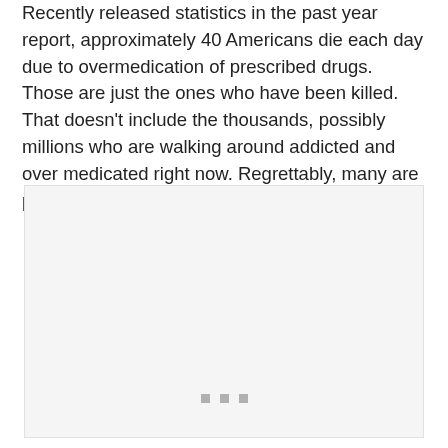Recently released statistics in the past year report, approximately 40 Americans die each day due to overmedication of prescribed drugs. Those are just the ones who have been killed. That doesn’t include the thousands, possibly millions who are walking around addicted and over medicated right now. Regrettably, many are pet owners.
[Figure (other): A light gray placeholder image box with three small gray square dots centered near the bottom, indicating a media or image carousel placeholder.]